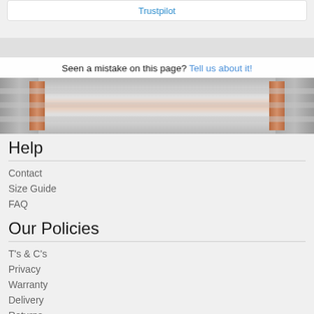Trustpilot
[Figure (photo): Product image showing a cylindrical heater element with copper/orange accents and metallic silver ends against a gray background]
Seen a mistake on this page? Tell us about it!
Help
Contact
Size Guide
FAQ
Our Policies
T's & C's
Privacy
Warranty
Delivery
Returns